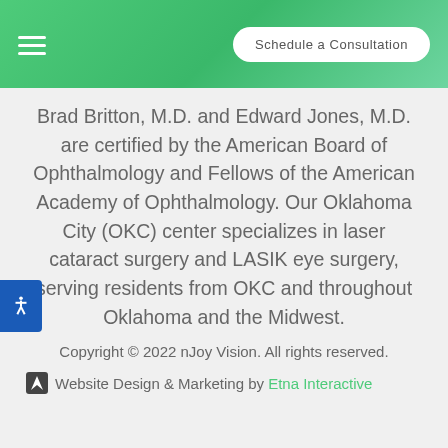Schedule a Consultation
Brad Britton, M.D. and Edward Jones, M.D. are certified by the American Board of Ophthalmology and Fellows of the American Academy of Ophthalmology. Our Oklahoma City (OKC) center specializes in laser cataract surgery and LASIK eye surgery, serving residents from OKC and throughout Oklahoma and the Midwest.
Copyright © 2022 nJoy Vision. All rights reserved.
Website Design & Marketing by Etna Interactive